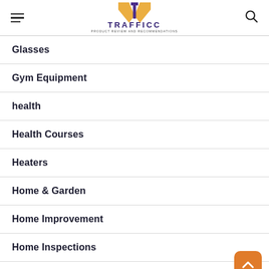TRAFFICC
Glasses
Gym Equipment
health
Health Courses
Heaters
Home & Garden
Home Improvement
Home Inspections
Hot Water System